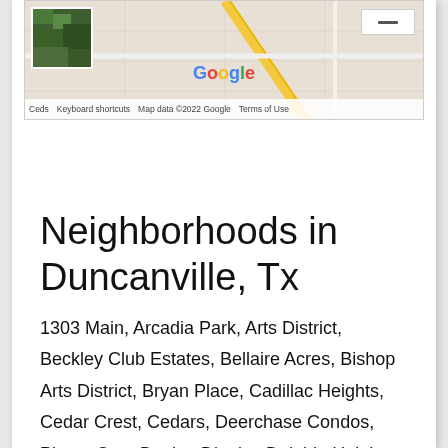[Figure (map): Google Maps screenshot showing a road map with a satellite thumbnail in the top-left corner, Google logo in the center, zoom-out button in the top-right, and map attribution bar at the bottom reading 'Keyboard shortcuts  Map data ©2022 Google  Terms of Use']
Neighborhoods in Duncanville, Tx
1303 Main, Arcadia Park, Arts District, Beckley Club Estates, Bellaire Acres, Bishop Arts District, Bryan Place, Cadillac Heights, Cedar Crest, Cedars, Deerchase Condos, Phase One, Design District, Dolphin Heights, East